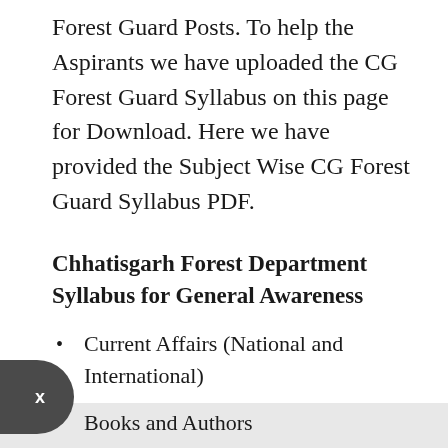Forest Guard Posts. To help the Aspirants we have uploaded the CG Forest Guard Syllabus on this page for Download. Here we have provided the Subject Wise CG Forest Guard Syllabus PDF.
Chhatisgarh Forest Department Syllabus for General Awareness
Current Affairs (National and International)
Major Financial / Economic News
Budget and Five Year Plans
Sports
Books and Authors
Awards and Honours
Science Inventions and Discoveries